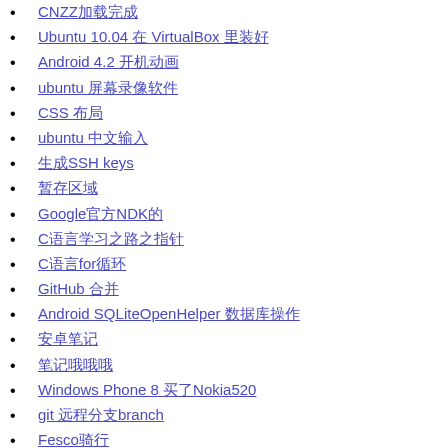CNZZ加载完成
Ubuntu 10.04 在 VirtualBox 里装好
Android 4.2 开机动画
ubuntu 屏幕录像软件
CSS 布局
ubuntu 中文输入
生成SSH keys
暂存区域
Google官方NDK的
C语言学习之路之指针
C语言for循环
GitHub 合并
Android SQLiteOpenHelper 数据库操作
安卓笔记
笔记哦哦哦
Windows Phone 8 买了Nokia520
git 远程分支branch
Fesco骑行
ListView 嵌套 GridView
ScrollView 嵌套 GridView 嵌套 ListView
宝宝辅食
怀念那段时光
总结
SimpleCursorAdapter bindView 的使用方法
总结一
总结二